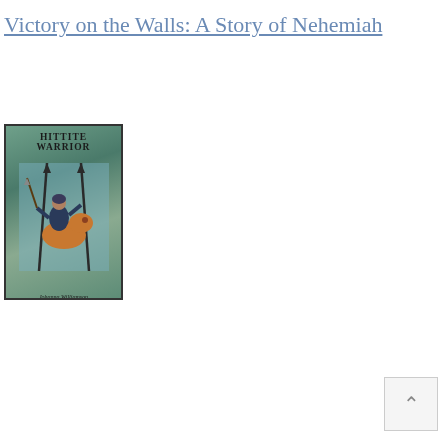Victory on the Walls: A Story of Nehemiah
[Figure (illustration): Book cover of 'Hittite Warrior' by Johanna Williamson, showing a warrior riding an animal with spears in the background, painted in teal/green tones]
Hittite Warrior
Outcast
The Eagle of the Ninth